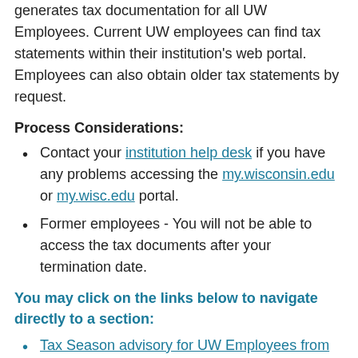generates tax documentation for all UW Employees. Current UW employees can find tax statements within their institution's web portal. Employees can also obtain older tax statements by request.
Process Considerations:
Contact your institution help desk if you have any problems accessing the my.wisconsin.edu or my.wisc.edu portal.
Former employees - You will not be able to access the tax documents after your termination date.
You may click on the links below to navigate directly to a section:
Tax Season advisory for UW Employees from the UW Shared Services - Service Operations Payroll Team